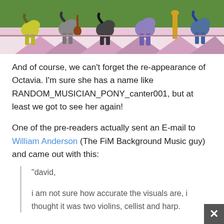[Figure (illustration): Screenshot of a My Little Pony animated scene showing colorful pony characters at what appears to be a party or concert setting with a pink and white background]
And of course, we can't forget the re-appearance of Octavia. I'm sure she has a name like RANDOM_MUSICIAN_PONY_canter001, but at least we got to see her again!
One of the pre-readers actually sent an E-mail to William Anderson (The FiM Background Music guy) and came out with this:
"david,

i am not sure how accurate the visuals are, i thought it was two violins, cellist and harp.